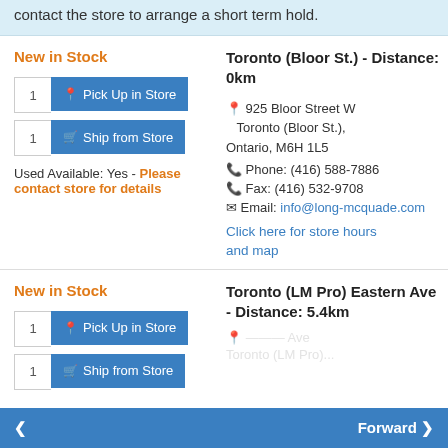contact the store to arrange a short term hold.
New in Stock
Toronto (Bloor St.) - Distance: 0km
925 Bloor Street W Toronto (Bloor St.), Ontario, M6H 1L5
Phone: (416) 588-7886
Fax: (416) 532-9708
Email: info@long-mcquade.com
Click here for store hours and map
Used Available: Yes - Please contact store for details
New in Stock
Toronto (LM Pro) Eastern Ave - Distance: 5.4km